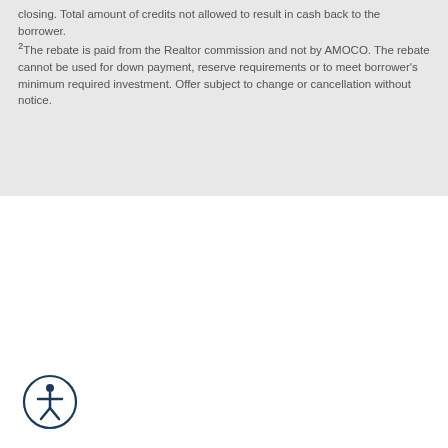closing. Total amount of credits not allowed to result in cash back to the borrower. ²The rebate is paid from the Realtor commission and not by AMOCO. The rebate cannot be used for down payment, reserve requirements or to meet borrower's minimum required investment. Offer subject to change or cancellation without notice.
[Figure (illustration): Accessibility icon: a circular outline containing a simplified human figure with arms outstretched, rendered in dark navy blue.]